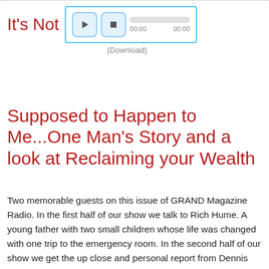It's Not
[Figure (screenshot): Audio player widget with play and stop buttons, progress bar, and 00:00 / 00:00 time display, surrounded by a light blue border]
(Download)
Supposed to Happen to Me...One Man's Story and a look at Reclaiming your Wealth
Two memorable guests on this issue of GRAND Magazine Radio. In the first half of our show we talk to Rich Hume. A young father with two small children whose life was changed with one trip to the emergency room. In the second half of our show we get the up close and personal report from Dennis Miller, Senior Editor of MillersMoney.com is warning Americans that they need to adjust their retirement strategy to